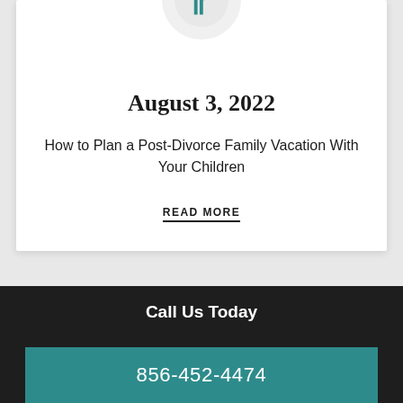[Figure (logo): Teal circular law firm logo with stylized letter at top of card]
August 3, 2022
How to Plan a Post-Divorce Family Vacation With Your Children
READ MORE
[Figure (logo): Teal circular law firm logo with number 6 at top of second card (partially visible)]
Call Us Today
856-452-4474